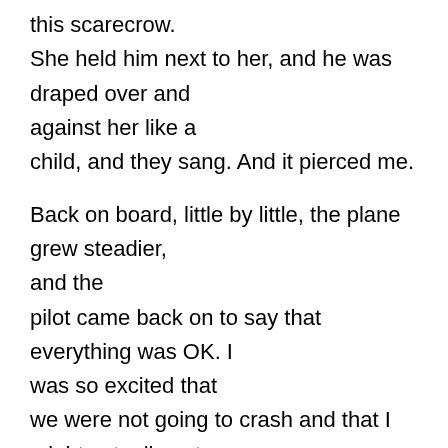this scarecrow. She held him next to her, and he was draped over and against her like a child, and they sang. And it pierced me.

Back on board, little by little, the plane grew steadier, and the pilot came back on to say that everything was OK. I was so excited that we were not going to crash and that I might actually get to see my little son again that I started feeling mingly, suddenly wanting to be new best friends with the Christian man. But just when I opened my mouth – I swear